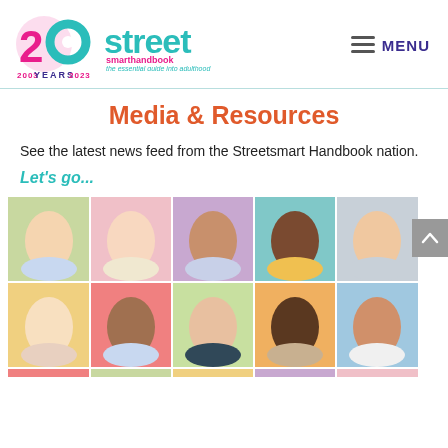[Figure (logo): 20 Years Street Smarthandbook logo with teal street text and 20 years badge in pink/teal/purple]
MENU
Media & Resources
See the latest news feed from the Streetsmart Handbook nation.
Let's go...
[Figure (photo): Collage of diverse young people's headshots arranged in a colorful grid of pastel-colored backgrounds (green, pink, purple, salmon, teal, yellow)]